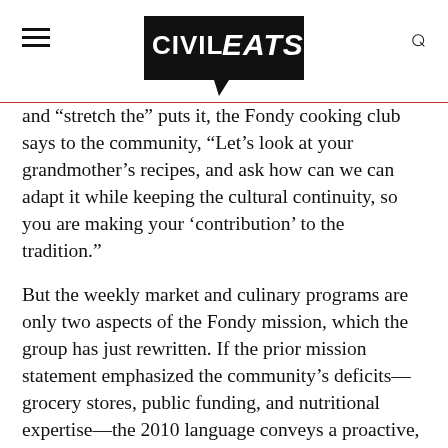CIVIL EATS
and “stretch the” puts it, the Fondy cooking club says to the community, “Let’s look at your grandmother’s recipes, and ask how can we can adapt it while keeping the cultural continuity, so you are making your ‘contribution’ to the tradition.”
But the weekly market and culinary programs are only two aspects of the Fondy mission, which the group has just rewritten. If the prior mission statement emphasized the community’s deficits—grocery stores, public funding, and nutritional expertise—the 2010 language conveys a proactive, community-center framework for urban food activism.